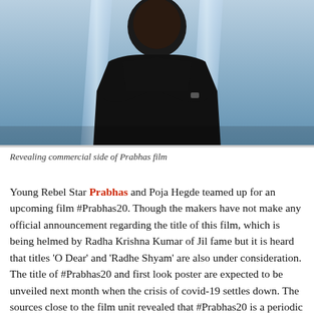[Figure (photo): A man (Prabhas) in a black outfit with arms crossed, standing in front of a blue-lit background with light pillars]
Revealing commercial side of Prabhas film
Young Rebel Star Prabhas and Poja Hegde teamed up for an upcoming film #Prabhas20. Though the makers have not make any official announcement regarding the title of this film, which is being helmed by Radha Krishna Kumar of Jil fame but it is heard that titles 'O Dear' and 'Radhe Shyam' are also under consideration. The title of #Prabhas20 and first look poster are expected to be unveiled next month when the crisis of covid-19 settles down.  The sources close to the film unit revealed that  #Prabhas20 is a periodic drama but